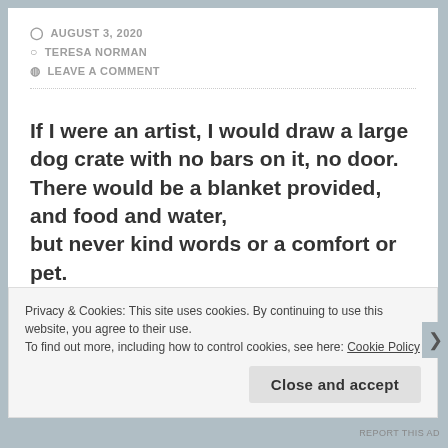AUGUST 3, 2020 | TERESA NORMAN | LEAVE A COMMENT
If I were an artist, I would draw a large dog crate with no bars on it, no door.
There would be a blanket provided, and food and water,
but never kind words or a comfort or pet.
Courage would be led there at night and told to stay until morning.
The “stupid little bitch” would be alone with her
Privacy & Cookies: This site uses cookies. By continuing to use this website, you agree to their use.
To find out more, including how to control cookies, see here: Cookie Policy
Close and accept